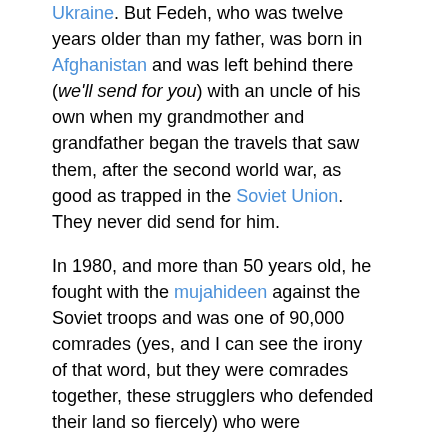Ukraine. But Fedeh, who was twelve years older than my father, was born in Afghanistan and was left behind there (we'll send for you) with an uncle of his own when my grandmother and grandfather began the travels that saw them, after the second world war, as good as trapped in the Soviet Union. They never did send for him.
In 1980, and more than 50 years old, he fought with the mujahideen against the Soviet troops and was one of 90,000 comrades (yes, and I can see the irony of that word, but they were comrades together, these strugglers who defended their land so fiercely) who were